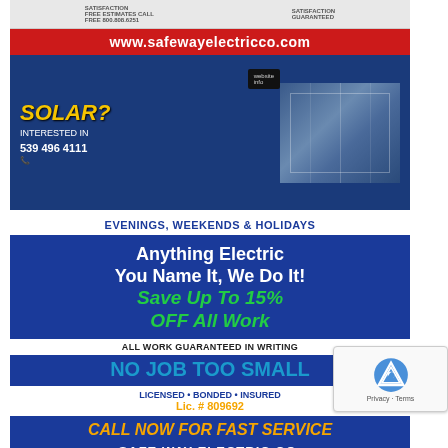[Figure (photo): Photo of a Safeway Electric Co. van/truck with website www.safewayelectricco.com on a red banner, and a blue section showing solar panel advertisement with phone number 539 496 4111]
[Figure (photo): Safeway Electric Co. advertisement sign. Blue background with text: EVENINGS, WEEKENDS & HOLIDAYS, Anything Electric You Name It, We Do It!, Save Up To 15% OFF All Work, ALL WORK GUARANTEED IN WRITING, NO JOB TOO SMALL, LICENSED • BONDED • INSURED, Lic. # 809692, CALL NOW FOR FAST SERVICE, SAFE WAY ELECTRIC CO.]